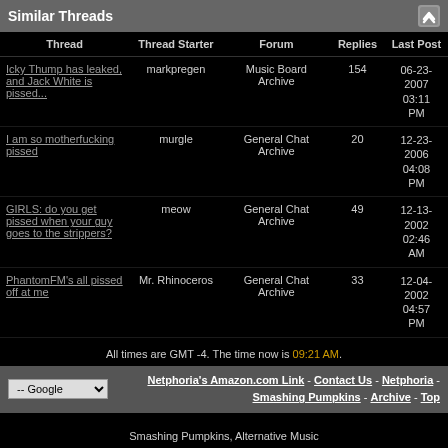Similar Threads
| Thread | Thread Starter | Forum | Replies | Last Post |
| --- | --- | --- | --- | --- |
| Icky Thump has leaked, and Jack White is pissed... | markpregen | Music Board Archive | 154 | 06-23-2007 03:11 PM |
| I am so motherfucking pissed | murgle | General Chat Archive | 20 | 12-23-2006 04:08 PM |
| GIRLS: do you get pissed when your guy goes to the strippers? | meow | General Chat Archive | 49 | 12-13-2002 02:46 AM |
| PhantomFM's all pissed off at me | Mr. Rhinoceros | General Chat Archive | 33 | 12-04-2002 04:57 PM |
All times are GMT -4. The time now is 09:21 AM.
Netphoria's Amazon.com Link - Contact Us - Netphoria - Smashing Pumpkins - Archive - Top
Smashing Pumpkins, Alternative Music & General Discussion Message Board and Forums www.netphoria.org - Copyright © 1998-2022